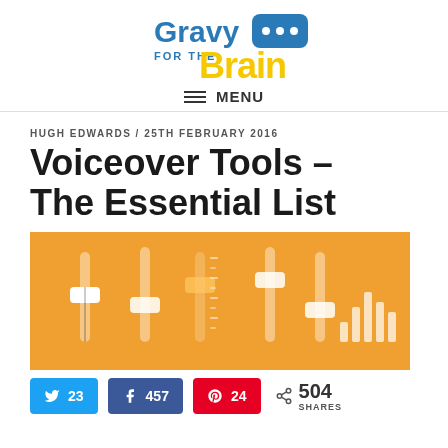[Figure (logo): Gravy for the Brain logo with speech bubble icon, blue and yellow text]
≡ MENU
HUGH EDWARDS / 25TH FEBRUARY 2016
Voiceover Tools – The Essential List
[Figure (illustration): Orange background with audio mixer faders and sound wave bars illustration]
23  457  24  504 SHARES (Twitter, Facebook, Pinterest share buttons)